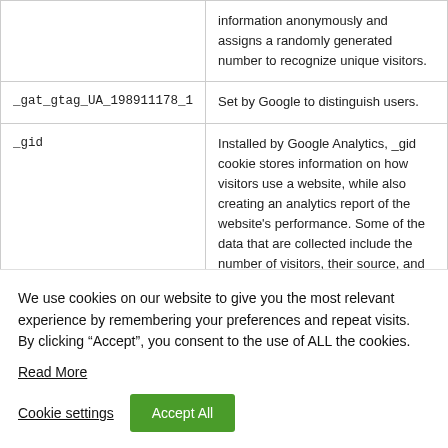| Cookie | Description |
| --- | --- |
|  | information anonymously and assigns a randomly generated number to recognize unique visitors. |
| _gat_gtag_UA_198911178_1 | Set by Google to distinguish users. |
| _gid | Installed by Google Analytics, _gid cookie stores information on how visitors use a website, while also creating an analytics report of the website's performance. Some of the data that are collected include the number of visitors, their source, and |
We use cookies on our website to give you the most relevant experience by remembering your preferences and repeat visits. By clicking “Accept”, you consent to the use of ALL the cookies.
Read More
Cookie settings
Accept All